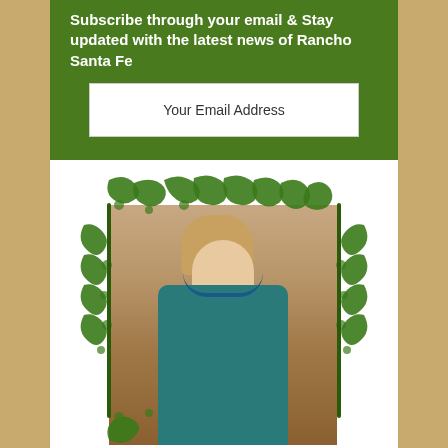Subscribe through your email & Stay updated with the latest news of Rancho Santa Fe
Your Email Address
[Figure (photo): Portrait photo of a woman with long blonde hair, wearing a teal turtleneck sweater and teal beaded necklace, arms crossed, set within a decorative green floral/swirl frame border]